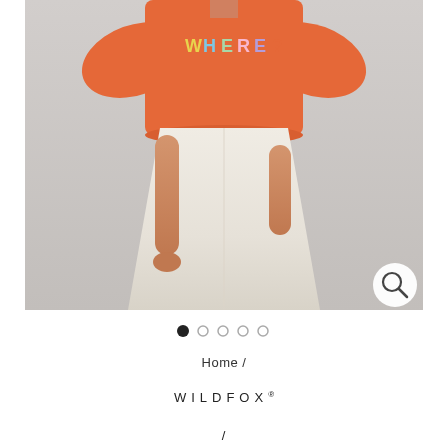[Figure (photo): Product photo of a woman wearing an orange crop t-shirt with colorful lettering and a cream/off-white skirt, shown from neck to mid-thigh on a light gray background. A magnifying glass icon appears in the bottom right corner of the image.]
● ○ ○ ○ ○
Home /
WILDFOX®
/